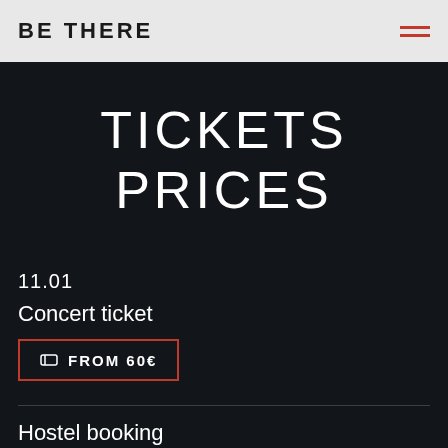BE THERE
TICKETS PRICES
11.01
Concert ticket
FROM 60€
Hostel booking